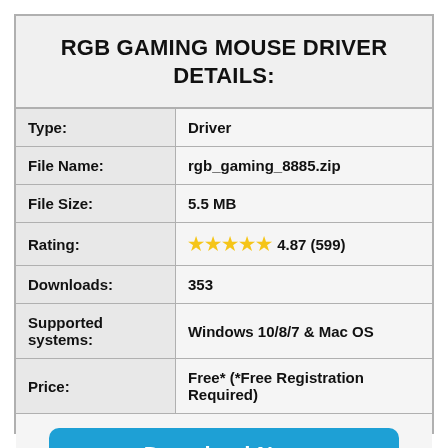RGB GAMING MOUSE DRIVER DETAILS:
| Field | Value |
| --- | --- |
| Type: | Driver |
| File Name: | rgb_gaming_8885.zip |
| File Size: | 5.5 MB |
| Rating: | ★★★★★ 4.87 (599) |
| Downloads: | 353 |
| Supported systems: | Windows 10/8/7 & Mac OS |
| Price: | Free* (*Free Registration Required) |
[Figure (other): Blue download button with text 'Download Now' and 'RGB GAMING MOUSE DRIVER']